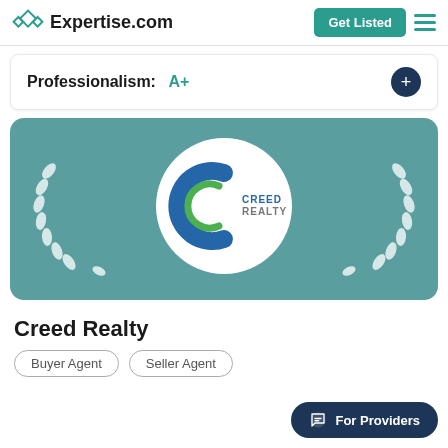Expertise.com   Get Listed
Professionalism:  A+
[Figure (logo): Creed Realty award card on teal background with laurel wreath and circular logo in center reading CREEDREALTY]
Creed Realty
Buyer Agent
Seller Agent
For Providers